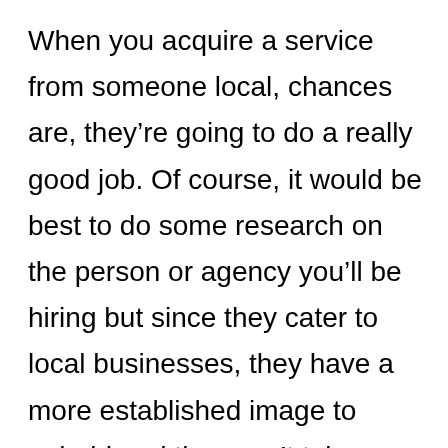When you acquire a service from someone local, chances are, they're going to do a really good job. Of course, it would be best to do some research on the person or agency you'll be hiring but since they cater to local businesses, they have a more established image to uphold and they can't take chances with letting any clients down. Also, they'll be more keen to provide better service in all aspects simply because of the lead source. If they were recommended to you by a client, of course they wouldn't want to let you down. You are all